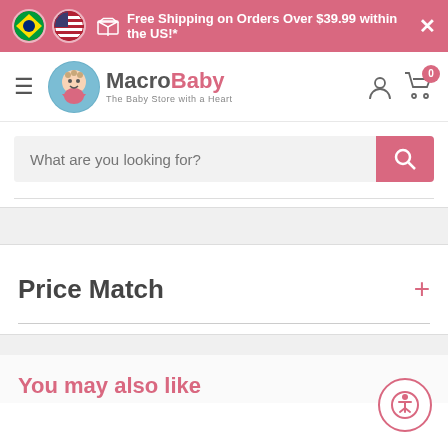Free Shipping on Orders Over $39.99 within the US!*
[Figure (logo): MacroBaby logo - The Baby Store with a Heart]
What are you looking for?
Price Match
You may also like